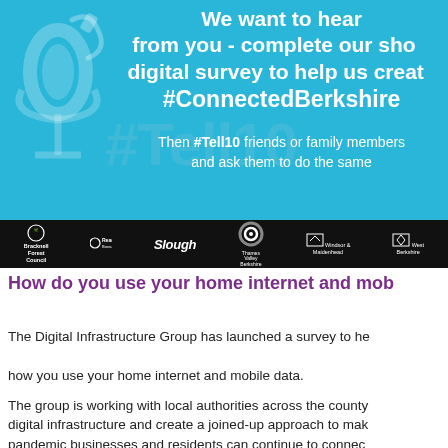[Figure (infographic): Blue banner with microphone graphic on the left. Text reads: 'We want to hear from you - complete our short digital survey to help us create #ConnectedBerkshire'. Below: 'Then #Tell10 friends or family members and ask them to do the same'. A watermark '#Tell10' appears in lighter blue. Black logo bar at the bottom shows: Bracknell Forest Council, Reading Borough Council, Slough Borough Council, Thames Valley Berkshire, Windsor & Maidenhead, West Berkshire Council logos.]
How do you use your home internet and mobile data?
The Digital Infrastructure Group has launched a survey to help understand how you use your home internet and mobile data.
The group is working with local authorities across the county to improve digital infrastructure and create a joined-up approach to make sure post-pandemic businesses and residents can continue to connect and work across all platforms.
Take part online before the deadline at midnight on Friday